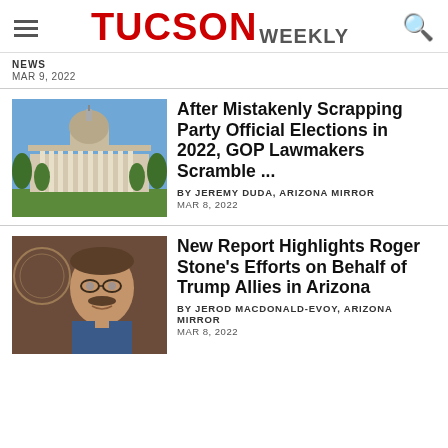TUCSON WEEKLY
NEWS
MAR 9, 2022
[Figure (photo): Arizona State Capitol building exterior, blue sky background]
After Mistakenly Scrapping Party Official Elections in 2022, GOP Lawmakers Scramble ...
BY JEREMY DUDA, ARIZONA MIRROR
MAR 8, 2022
[Figure (photo): Portrait photo of a man with mustache and glasses in front of Arizona state seal]
New Report Highlights Roger Stone's Efforts on Behalf of Trump Allies in Arizona
BY JEROD MACDONALD-EVOY, ARIZONA MIRROR
MAR 8, 2022